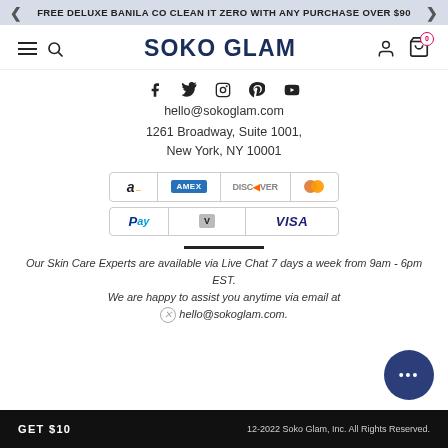FREE DELUXE BANILA CO CLEAN IT ZERO WITH ANY PURCHASE OVER $90
[Figure (screenshot): Soko Glam website navigation bar with hamburger menu, search icon, logo, user and cart icons]
[Figure (infographic): Social media icons: Facebook, Twitter, Instagram, Pinterest, YouTube]
hello@sokoglam.com
1261 Broadway, Suite 1001, New York, NY 10001
[Figure (infographic): Payment method icons in two rows: Amazon, AMEX, Discover, Mastercard; PayPal, Venmo, Visa]
Our Skin Care Experts are available via Live Chat 7 days a week from 9am - 6pm EST. We are happy to assist you anytime via email at hello@sokoglam.com.
GET $10 | 12-2022 Soko Glam, Inc. All Rights Reserved.